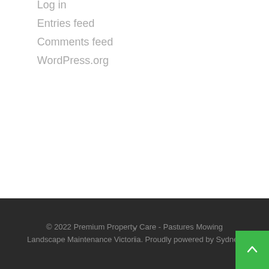Log in
Entries feed
Comments feed
WordPress.org
© 2022 Premium Property Care - Pastures Mowing Landscape Maintenance Victoria. Proudly powered by Sydney